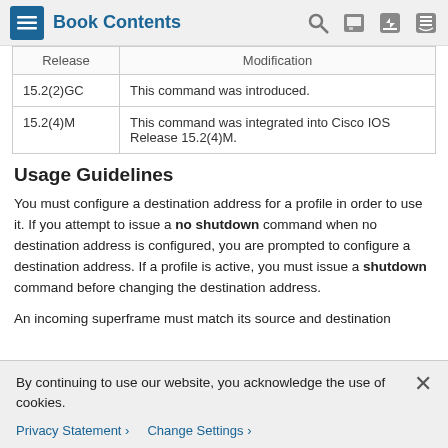Book Contents
| Release | Modification |
| --- | --- |
| 15.2(2)GC | This command was introduced. |
| 15.2(4)M | This command was integrated into Cisco IOS Release 15.2(4)M. |
Usage Guidelines
You must configure a destination address for a profile in order to use it. If you attempt to issue a no shutdown command when no destination address is configured, you are prompted to configure a destination address. If a profile is active, you must issue a shutdown command before changing the destination address.
An incoming superframe must match its source and destination
By continuing to use our website, you acknowledge the use of cookies.
Privacy Statement › Change Settings ›